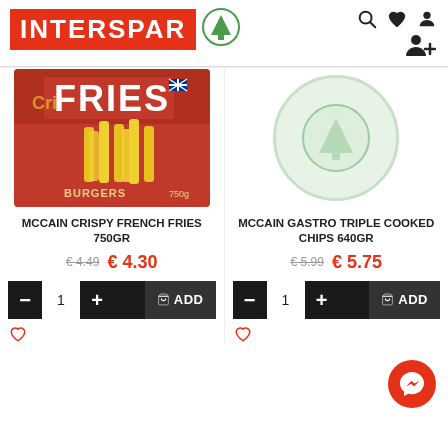[Figure (logo): INTERSPAR logo — red rectangle with white bold text INTERSPAR and green circular tree/arrow icon]
[Figure (photo): McCain Crispy French Fries 750gr product package — red bag with golden fries]
[Figure (illustration): Placeholder circle with INTERSPAR tree icon — light green circle]
MCCAIN CRISPY FRENCH FRIES 750gr
€ 4.49  € 4.30
MCCAIN GASTRO TRIPLE COOKED CHIPS 640gr
€ 5.99  € 5.75